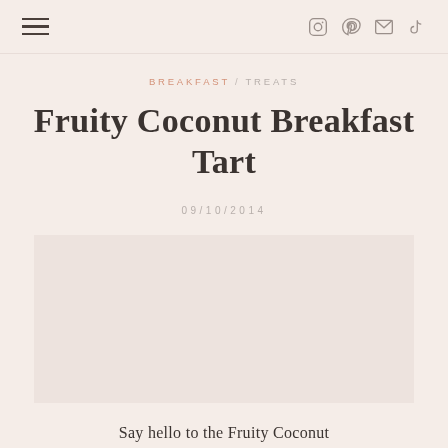☰   [navigation icons: Instagram, Pinterest, Email, TikTok]
BREAKFAST / TREATS
Fruity Coconut Breakfast Tart
09/10/2014
[Figure (photo): Photo of Fruity Coconut Breakfast Tart (image area, content not visible in this crop)]
Say hello to the Fruity Coconut